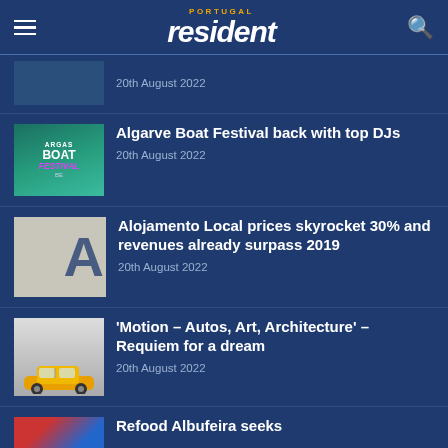PORTUGAL resident
20th August 2022
Algarve Boat Festival back with top DJs
20th August 2022
Alojamento Local prices skyrocket 30% and revenues already surpass 2019
20th August 2022
'Motion – Autos, Art, Architecture' – Requiem for a dream
20th August 2022
Refood Albufeira seeks